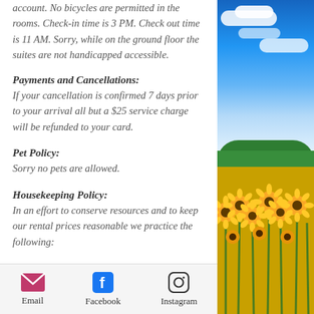account. No bicycles are permitted in the rooms. Check-in time is 3 PM. Check out time is 11 AM. Sorry, while on the ground floor the suites are not handicapped accessible.
Payments and Cancellations:
If your cancellation is confirmed 7 days prior to your arrival all but a $25 service charge will be refunded to your card.
Pet Policy:
Sorry no pets are allowed.
Housekeeping Policy:
In an effort to conserve resources and to keep our rental prices reasonable we practice the following:
[Figure (photo): Outdoor photo showing blue sky with clouds above a sunflower field]
Email   Facebook   Instagram